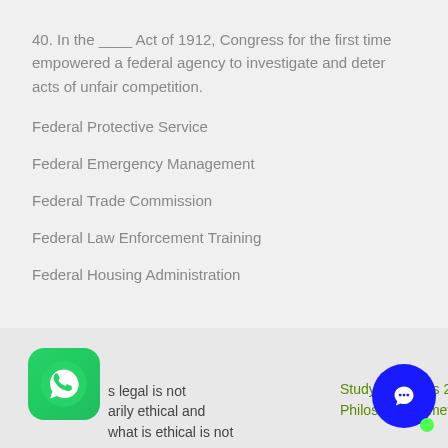40. In the ____ Act of 1912, Congress for the first time empowered a federal agency to investigate and deter acts of unfair competition.
Federal Protective Service
Federal Emergency Management
Federal Trade Commission
Federal Law Enforcement Training
Federal Housing Administration
s legal is not arily ethical and what is ethical is not | Study questions 2.3 | Philosophy homework help